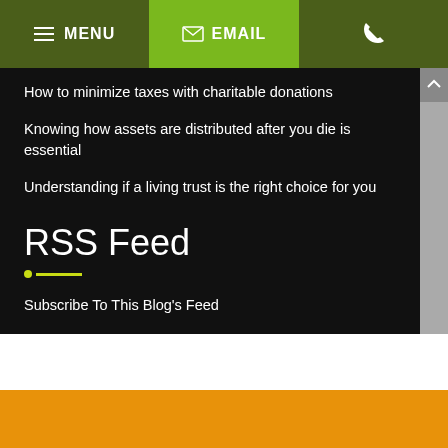MENU  EMAIL
How to minimize taxes with charitable donations
Knowing how assets are distributed after you die is essential
Understanding if a living trust is the right choice for you
RSS Feed
Subscribe To This Blog's Feed